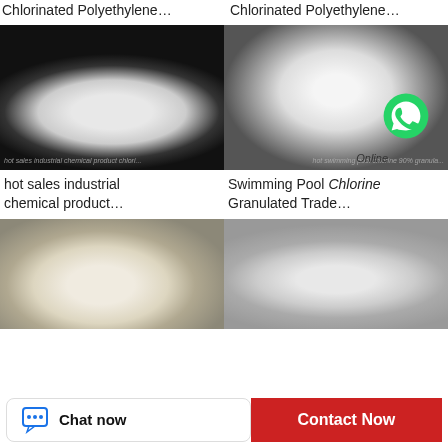Chlorinated Polyethylene…
Chlorinated Polyethylene…
[Figure (photo): White powder chemical product on black background, oval flat pile shape]
hot sales industrial chemical product…
[Figure (photo): White granulated powder chemical product piled on dark background with WhatsApp icon and Online label overlay]
Swimming Pool Chlorine Granulated Trade…
[Figure (photo): Cream/off-white powder chemical product close-up]
[Figure (photo): Gray/white powder chemical product close-up]
Chat now
Contact Now